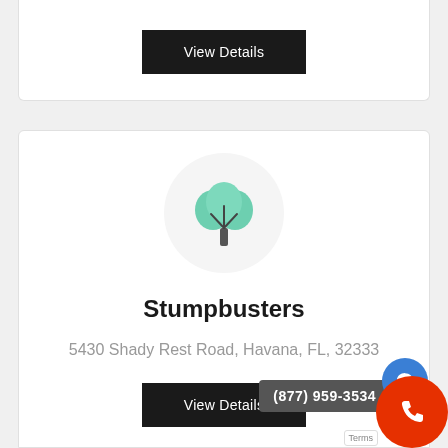[Figure (screenshot): Top portion of a business listing card with a black 'View Details' button]
[Figure (illustration): Tree icon inside a light gray circle representing a landscaping/tree service business]
Stumpbusters
5430 Shady Rest Road, Havana, FL, 32333
[Figure (screenshot): Black 'View Details' button for the Stumpbusters listing]
(877) 959-3534